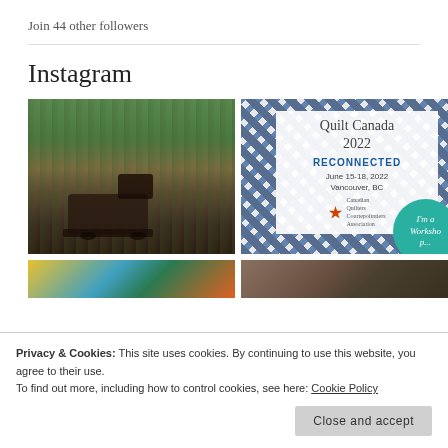Join 44 other followers
Instagram
[Figure (photo): Sewing machine on a table with colorful fabric pieces, large windows with forest view behind]
[Figure (infographic): Quilt Canada 2022 RECONNECTED, June 15-18, 2022, Vancouver, BC. Decorative quilt pattern border with teal badge saying I'm a Workshop teacher]
[Figure (photo): Colorful quilt pattern bottom strip]
[Figure (photo): Interior scene bottom strip]
Privacy & Cookies: This site uses cookies. By continuing to use this website, you agree to their use.
To find out more, including how to control cookies, see here: Cookie Policy
Close and accept